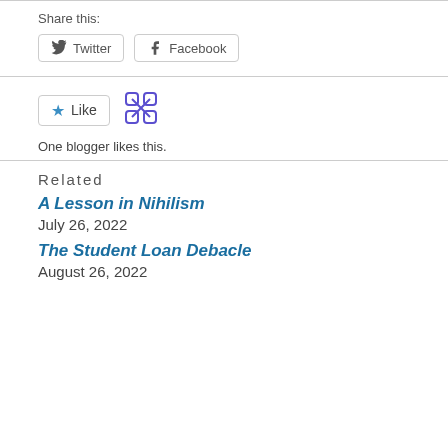Share this:
Twitter  Facebook
Like
One blogger likes this.
Related
A Lesson in Nihilism
July 26, 2022
The Student Loan Debacle
August 26, 2022